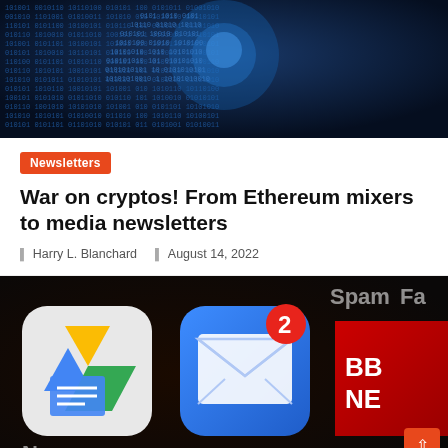[Figure (photo): Dark blue digital background with binary code (0s and 1s) forming a tunnel/matrix effect with a glowing sphere in the center]
Newsletters
War on cryptos! From Ethereum mixers to media newsletters
Harry L. Blanchard   August 14, 2022
[Figure (photo): Close-up of smartphone screen showing app icons including Google Drive/Docs, Mail app with a red badge showing '2', BBC News app, and other apps. Text 'Spam', 'Fa', 'News' partially visible.]